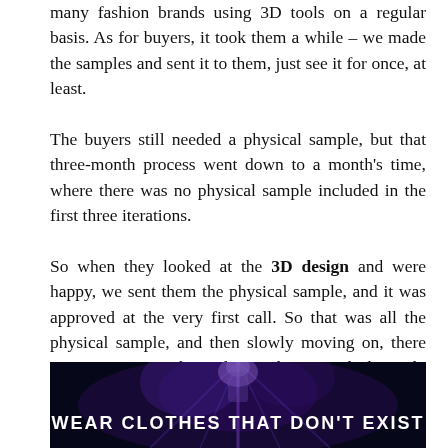many fashion brands using 3D tools on a regular basis. As for buyers, it took them a while – we made the samples and sent it to them, just see it for once, at least. The buyers still needed a physical sample, but that three-month process went down to a month's time, where there was no physical sample included in the first three iterations. So when they looked at the 3D design and were happy, we sent them the physical sample, and it was approved at the very first call. So that was all the physical sample, and then slowly moving on, there were no more physical samples – and the only physical asset that was being created was during the manufacturing process. So that's how people started adapting to 3D tools. And since that day, I've been exploring 3D and fashion and that's how I started.
[Figure (photo): Dark promotional image with glowing purple/blue light effects showing a stylized figure, with bold white text reading 'WEAR CLOTHES THAT DON'T EXIST']